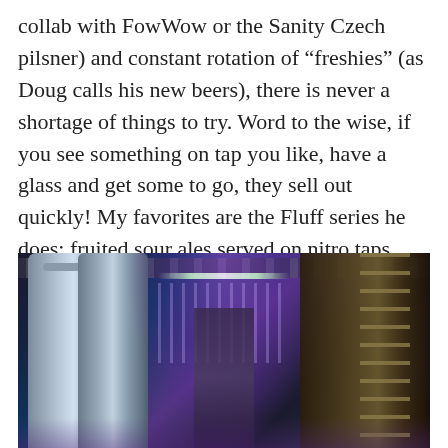collab with FowWow or the Sanity Czech pilsner) and constant rotation of “freshies” (as Doug calls his new beers), there is never a shortage of things to try. Word to the wise, if you see something on tap you like, have a glass and get some to go, they sell out quickly! My favorites are the Fluff series he does; fruited sour ales served on nitro taps which give the beer more mouth-feel and a marshmallow-like head.
[Figure (photo): Interior of a brewery showing large silver fermentation tanks on the left, purple/violet lighting illuminating the ceiling and middle area with tap handles visible, and wooden ladder/shelf structures on the right side. A person is visible working in the middle background.]